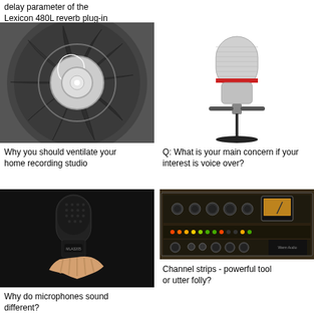delay parameter of the Lexicon 480L reverb plug-in
[Figure (photo): Close-up of a jet engine turbine fan blades showing a spiral pattern]
Why you should ventilate your home recording studio
[Figure (photo): A professional studio condenser microphone on a stand with a silver/red body]
Q: What is your main concern if your interest is voice over?
[Figure (photo): A person holding a black condenser microphone against a dark background]
Why do microphones sound different?
[Figure (photo): A rack-mounted audio channel strip unit with knobs, meters and controls]
Channel strips - powerful tool or utter folly?